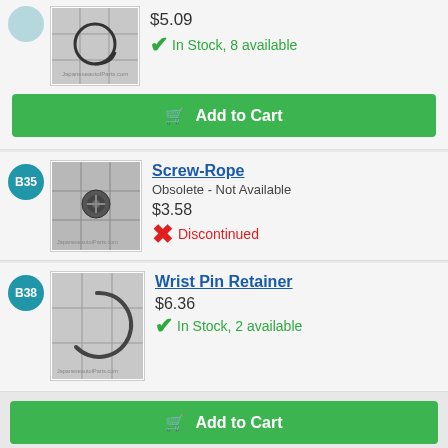$5.09
In Stock, 8 available
Add to Cart
B35
Screw-Rope
Obsolete - Not Available
$3.58
Discontinued
B38
Wrist Pin Retainer
$6.36
In Stock, 2 available